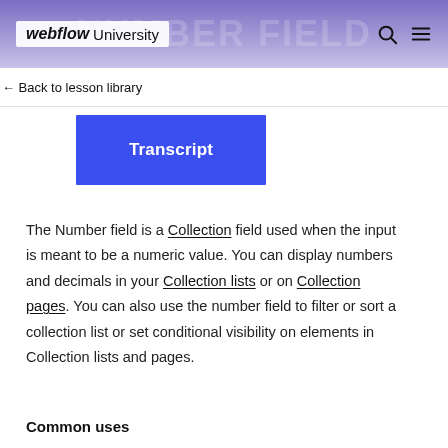webflow University
Back to lesson library
Transcript
The Number field is a Collection field used when the input is meant to be a numeric value. You can display numbers and decimals in your Collection lists or on Collection pages. You can also use the number field to filter or sort a collection list or set conditional visibility on elements in Collection lists and pages.
Common uses